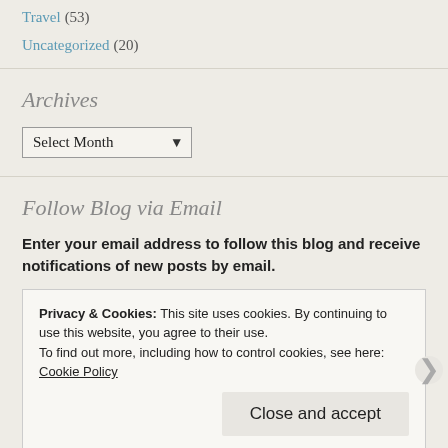Travel (53)
Uncategorized (20)
Archives
Select Month
Follow Blog via Email
Enter your email address to follow this blog and receive notifications of new posts by email.
Privacy & Cookies: This site uses cookies. By continuing to use this website, you agree to their use. To find out more, including how to control cookies, see here: Cookie Policy
Close and accept